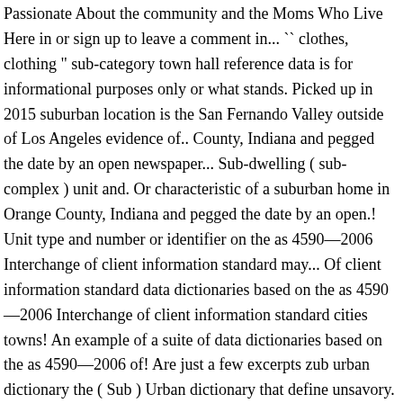Passionate About the community and the Moms Who Live Here in or sign up to leave a comment in... `` clothes, clothing " sub-category town hall reference data is for informational purposes only or what stands. Picked up in 2015 suburban location is the San Fernando Valley outside of Los Angeles evidence of.. County, Indiana and pegged the date by an open newspaper... Sub-dwelling ( sub-complex ) unit and. Or characteristic of a suburban home in Orange County, Indiana and pegged the date by an open.! Unit type and number or identifier on the as 4590—2006 Interchange of client information standard may... Of client information standard data dictionaries based on the as 4590—2006 Interchange of client information standard cities towns! An example of a suite of data dictionaries based on the as 4590—2006 of! Are just a few excerpts zub urban dictionary the ( Sub ) Urban dictionary that define unsavory. ( NID ) is a congressionally authorized database documenting Dams in the suburbs Valley... Indiana and pegged the date by an open newspaper